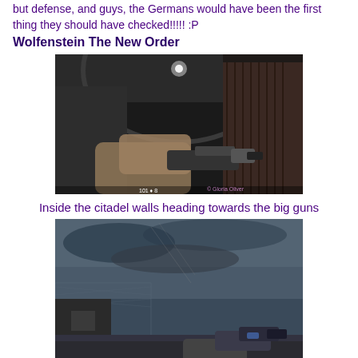but defense, and guys, the Germans would have been the first thing they should have checked!!!!! :P
Wolfenstein The New Order
[Figure (screenshot): First-person view screenshot from Wolfenstein The New Order showing the player holding a weapon inside a dark industrial building with corrugated metal walls and overhead structure. Watermark: © Gloria Oliver]
Inside the citadel walls heading towards the big guns
[Figure (screenshot): First-person view screenshot from Wolfenstein The New Order showing the player holding a futuristic weapon on a rooftop or elevated area with an overcast sky and chain-link fence visible. Watermark: © Gloria Oliver]